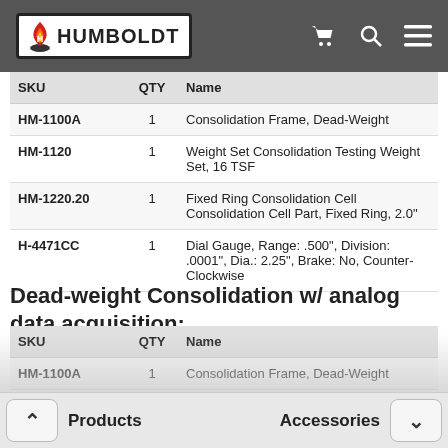HUMBOLDT
| SKU | QTY | Name |
| --- | --- | --- |
| HM-1100A | 1 | Consolidation Frame, Dead-Weight |
| HM-1120 | 1 | Weight Set Consolidation Testing Weight Set, 16 TSF |
| HM-1220.20 | 1 | Fixed Ring Consolidation Cell Consolidation Cell Part, Fixed Ring, 2.0" |
| H-4471CC | 1 | Dial Gauge, Range: .500", Division: .0001", Dia.: 2.25", Brake: No, Counter-Clockwise |
Dead-weight Consolidation w/ analog data acquisition:
| SKU | QTY | Name |
| --- | --- | --- |
| HM-1100A | 1 | Consolidation Frame, Dead-Weight |
| HM-1120 | 1 | Weight Set Consolidation Testing Weight Set, 16 TSF |
| HM-1220.20 | 1 | Fixed Ring Consolidation Cell Consolidation Cell Part, Fixed Ring, 2.0" |
Products    Accessories